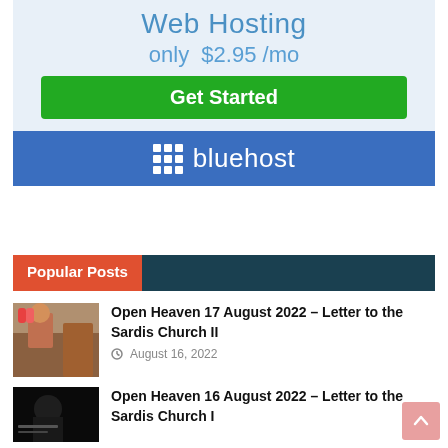[Figure (infographic): Bluehost web hosting advertisement banner. Light blue background with text 'Web Hosting only $2.95 /mo', green 'Get Started' button, and blue Bluehost logo bar at bottom.]
Popular Posts
[Figure (photo): Photo of a person with flowers at a church building]
Open Heaven 17 August 2022 – Letter to the Sardis Church II
August 16, 2022
[Figure (photo): Dark photo of a person, possibly a minister or speaker]
Open Heaven 16 August 2022 – Letter to the Sardis Church I